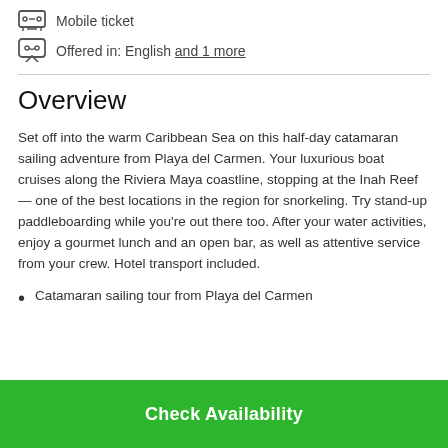Mobile ticket
Offered in: English and 1 more
Overview
Set off into the warm Caribbean Sea on this half-day catamaran sailing adventure from Playa del Carmen. Your luxurious boat cruises along the Riviera Maya coastline, stopping at the Inah Reef — one of the best locations in the region for snorkeling. Try stand-up paddleboarding while you're out there too. After your water activities, enjoy a gourmet lunch and an open bar, as well as attentive service from your crew. Hotel transport included.
Catamaran sailing tour from Playa del Carmen
Check Availability